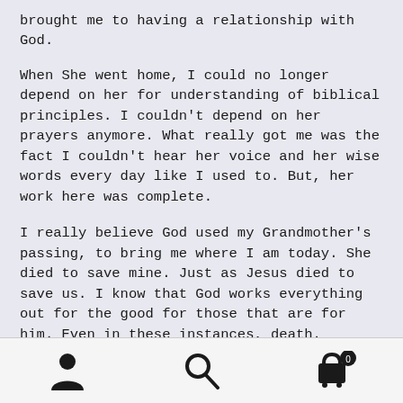brought me to having a relationship with God.
When She went home, I could no longer depend on her for understanding of biblical principles. I couldn't depend on her prayers anymore. What really got me was the fact I couldn't hear her voice and her wise words every day like I used to. But, her work here was complete.
I really believe God used my Grandmother's passing, to bring me where I am today. She died to save mine. Just as Jesus died to save us. I know that God works everything out for the good for those that are for him. Even in these instances, death.
[navigation icons: user, search, cart]